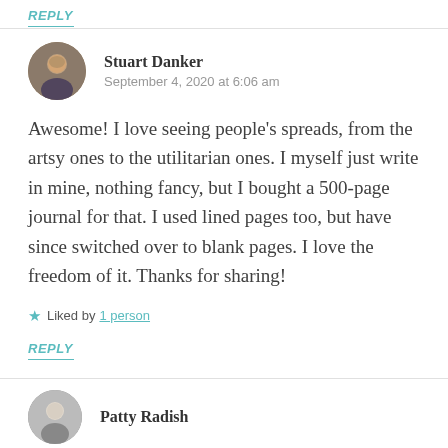REPLY
[Figure (photo): Circular avatar photo of Stuart Danker, a smiling man with short dark hair]
Stuart Danker
September 4, 2020 at 6:06 am
Awesome! I love seeing people’s spreads, from the artsy ones to the utilitarian ones. I myself just write in mine, nothing fancy, but I bought a 500-page journal for that. I used lined pages too, but have since switched over to blank pages. I love the freedom of it. Thanks for sharing!
Liked by 1 person
REPLY
[Figure (photo): Circular avatar photo of Patty Radish, a person with short light hair]
Patty Radish